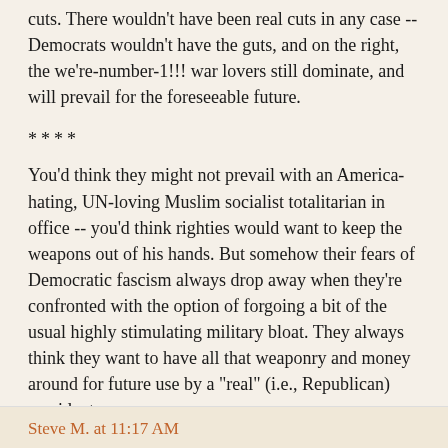cuts. There wouldn't have been real cuts in any case -- Democrats wouldn't have the guts, and on the right, the we're-number-1!!! war lovers still dominate, and will prevail for the foreseeable future.
****
You'd think they might not prevail with an America-hating, UN-loving Muslim socialist totalitarian in office -- you'd think righties would want to keep the weapons out of his hands. But somehow their fears of Democratic fascism always drop away when they're confronted with the option of forgoing a bit of the usual highly stimulating military bloat. They always think they want to have all that weaponry and money around for future use by a "real" (i.e., Republican) president.
I will add that it's possible we'll go at the military budget in a real way if, in the future, Wingnuttia is dominated by the now-youthful Paulbots. They'll be as crazy as the current elderly teabaggers on everything else, but they might talk some sense on Pentagon spending. But that'll happen decades from now, if at all.
Steve M. at 11:17 AM